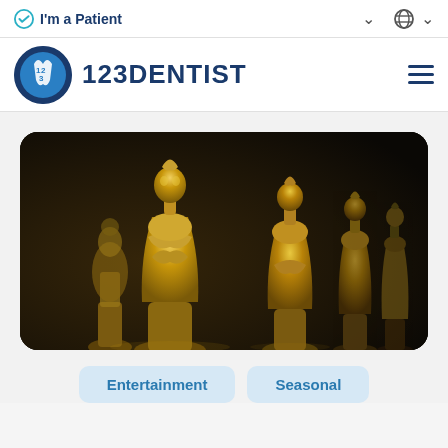I'm a Patient
[Figure (logo): 123Dentist logo with circular blue and white emblem showing stylized numbers 1, 2, 3 and the text 123DENTIST in dark blue]
[Figure (photo): Row of golden Oscar statuettes lined up in a row against a dark background, photographed in close-up with shallow depth of field]
Entertainment
Seasonal